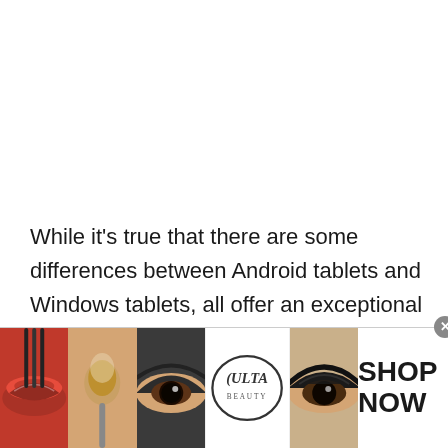While it's true that there are some differences between Android tablets and Windows tablets, all offer an exceptional drawing experience. Many Android tablets don't have stylus input devices, and even those that do
[Figure (photo): Advertisement banner for Ulta Beauty showing beauty product images: red lips with lipstick, makeup brush, dramatic eye makeup, Ulta Beauty logo, close-up eye with dark makeup, and a 'SHOP NOW' call to action with a close button.]